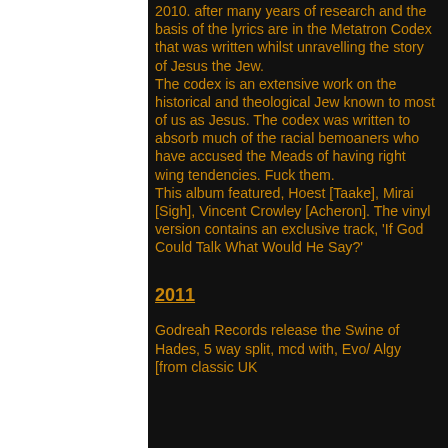2010. after many years of research and the basis of the lyrics are in the Metatron Codex that was written whilst unravelling the story of Jesus the Jew. The codex is an extensive work on the historical and theological Jew known to most of us as Jesus. The codex was written to absorb much of the racial bemoaners who have accused the Meads of having right wing tendencies. Fuck them. This album featured, Hoest [Taake], Mirai [Sigh], Vincent Crowley [Acheron]. The vinyl version contains an exclusive track, 'If God Could Talk What Would He Say?'
2011
Godreah Records release the Swine of Hades, 5 way split, mcd with, Evo/ Algy [from classic UK